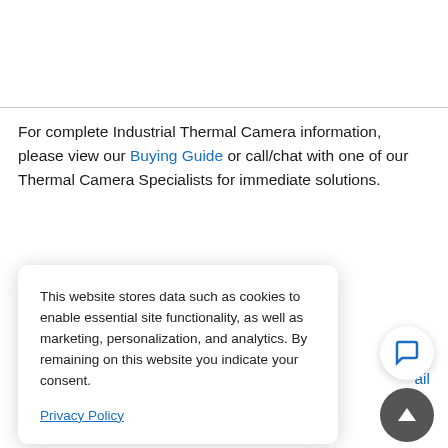For complete Industrial Thermal Camera information, please view our Buying Guide or call/chat with one of our Thermal Camera Specialists for immediate solutions.
This website stores data such as cookies to enable essential site functionality, as well as marketing, personalization, and analytics. By remaining on this website you indicate your consent.

Privacy Policy
ail